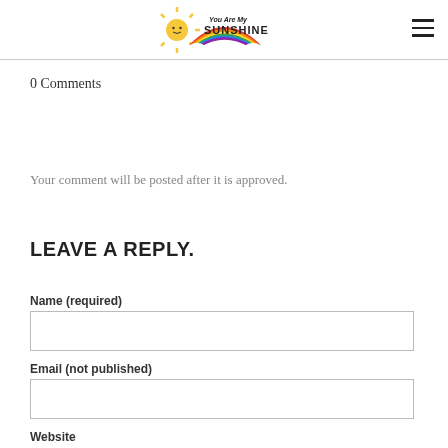You Are My SUNSHINE logo with hamburger menu
0 Comments
Your comment will be posted after it is approved.
LEAVE A REPLY.
Name (required)
Email (not published)
Website